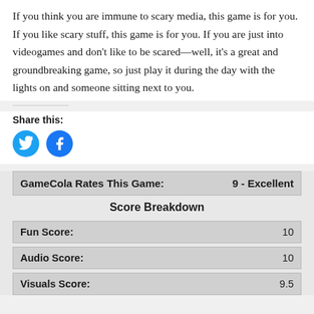If you think you are immune to scary media, this game is for you. If you like scary stuff, this game is for you. If you are just into videogames and don't like to be scared—well, it's a great and groundbreaking game, so just play it during the day with the lights on and someone sitting next to you.
Share this:
[Figure (other): Twitter and Facebook share buttons (circular blue icons)]
| GameCola Rates This Game: | 9 - Excellent |
| --- | --- |
Score Breakdown
| Fun Score: | 10 |
| --- | --- |
| Audio Score: | 10 |
| --- | --- |
| Visuals Score: | 9.5 |
| --- | --- |